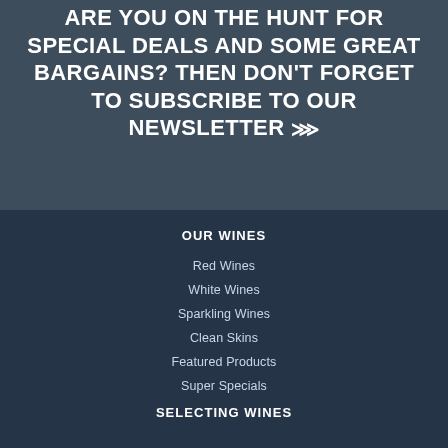ARE YOU ON THE HUNT FOR SPECIAL DEALS AND SOME GREAT BARGAINS? THEN DON'T FORGET TO SUBSCRIBE TO OUR NEWSLETTER »
OUR WINES
Red Wines
White Wines
Sparkling Wines
Clean Skins
Featured Products
Super Specials
SELECTING WINES